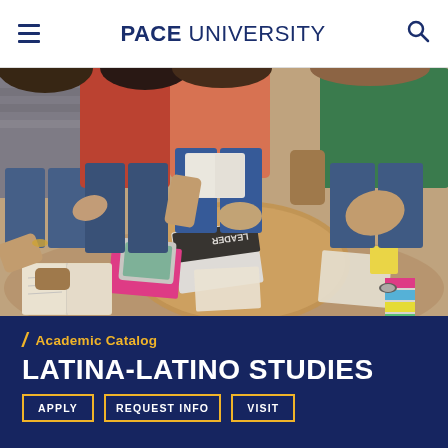PACE UNIVERSITY
[Figure (photo): Overhead view of a diverse group of students sitting in a circle on the floor and around a round wooden table covered with open books, notebooks, tablets, and colorful folders, engaged in a group study session.]
Academic Catalog
LATINA-LATINO STUDIES
APPLY | REQUEST INFO | VISIT